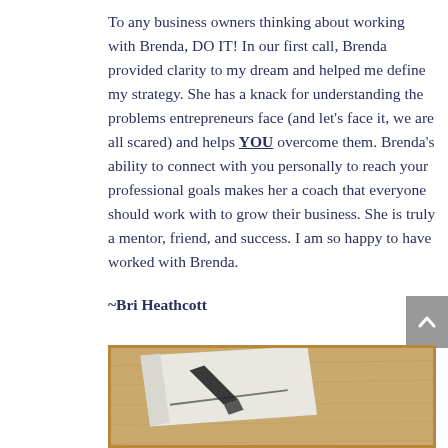To any business owners thinking about working with Brenda, DO IT! In our first call, Brenda provided clarity to my dream and helped me define my strategy. She has a knack for understanding the problems entrepreneurs face (and let's face it, we are all scared) and helps YOU overcome them. Brenda's ability to connect with you personally to reach your professional goals makes her a coach that everyone should work with to grow their business. She is truly a mentor, friend, and success. I am so happy to have worked with Brenda.
~Bri Heathcott
[Figure (photo): Close-up photo of what appears to be a printed or embroidered textile/book with a decorative design, shown at an angle on a wooden surface. Framed with a gold/amber border.]